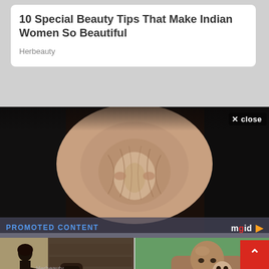10 Special Beauty Tips That Make Indian Women So Beautiful
Herbeauty
[Figure (photo): Close-up photo showing wrinkled/pinched skin between two dark-haired heads, used as a clickbait/sponsored content ad image]
✕ close
PROMOTED CONTENT
[Figure (logo): mgid logo with orange arrow]
[Figure (photo): Woman in black top and orange skirt standing near a small window in an Italian stone wall]
The Story Of The Small Italy Windows In The Walls Is Rather Grim
Brainberries
[Figure (photo): Dwayne Johnson (The Rock) holding a baby, smiling, showing arm tattoos]
Photos Of Dwayne With His Kids That Prove He Is A Family Man
Herbeauty